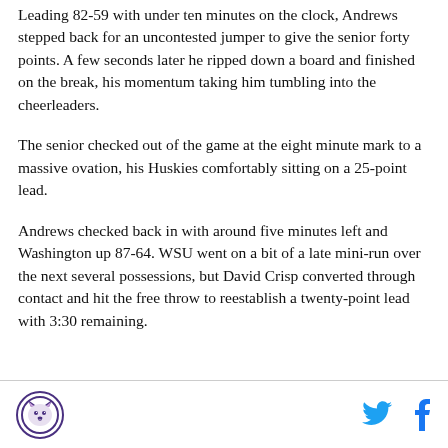Leading 82-59 with under ten minutes on the clock, Andrews stepped back for an uncontested jumper to give the senior forty points. A few seconds later he ripped down a board and finished on the break, his momentum taking him tumbling into the cheerleaders.
The senior checked out of the game at the eight minute mark to a massive ovation, his Huskies comfortably sitting on a 25-point lead.
Andrews checked back in with around five minutes left and Washington up 87-64. WSU went on a bit of a late mini-run over the next several possessions, but David Crisp converted through contact and hit the free throw to reestablish a twenty-point lead with 3:30 remaining.
Logo and social icons (Twitter, Facebook)